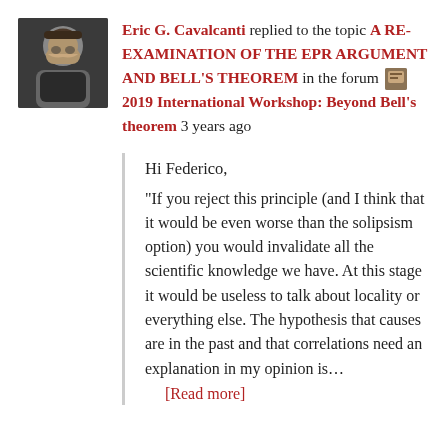[Figure (photo): Profile photo of Eric G. Cavalcanti, a man with long dark hair and beard]
Eric G. Cavalcanti replied to the topic A RE-EXAMINATION OF THE EPR ARGUMENT AND BELL'S THEOREM in the forum [forum icon] 2019 International Workshop: Beyond Bell's theorem 3 years ago
Hi Federico,
“If you reject this principle (and I think that it would be even worse than the solipsism option) you would invalidate all the scientific knowledge we have. At this stage it would be useless to talk about locality or everything else. The hypothesis that causes are in the past and that correlations need an explanation in my opinion is…
[Read more]